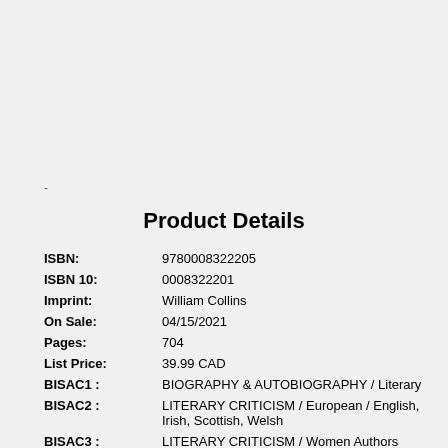-
Product Details
| Field | Value |
| --- | --- |
| ISBN: | 9780008322205 |
| ISBN 10: | 0008322201 |
| Imprint: | William Collins |
| On Sale: | 04/15/2021 |
| Pages: | 704 |
| List Price: | 39.99 CAD |
| BISAC1 : | BIOGRAPHY & AUTOBIOGRAPHY / Literary |
| BISAC2 : | LITERARY CRITICISM / European / English, Irish, Scottish, Welsh |
| BISAC3 : | LITERARY CRITICISM / Women Authors |